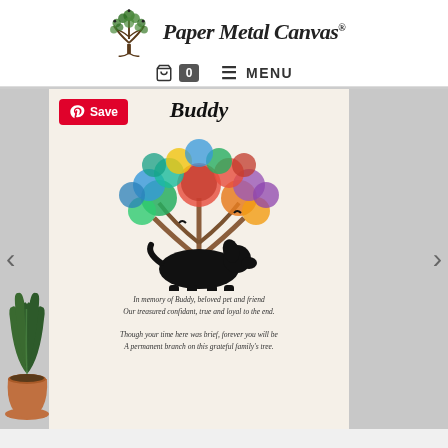[Figure (logo): Paper Metal Canvas logo with decorative tree illustration on the left and cursive brand name text on the right with registered trademark symbol]
🛒 0  ☰ MENU
[Figure (photo): Product photo of a pet memorial art print titled 'Buddy' featuring a colorful watercolor tree of life with a black dog silhouette and poem text, displayed on a light background with plant and gray wall visible on sides. Pinterest Save button overlay on top left. Left and right navigation arrows visible.]